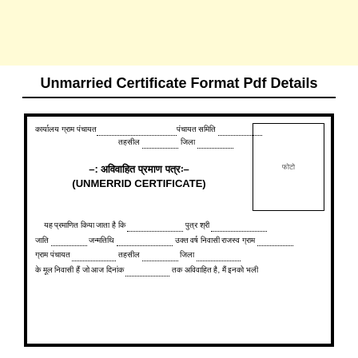Unmarried Certificate Format Pdf Details
[Figure (other): Unmarried/Unmarried (Avivaahit) Certificate form in Hindi with blanks for gram panchayat, tehsil, zila, name, caste, date of birth, revenue village, gram panchayat, tehsil, zila, and a photo box. Includes Hindi heading -: अविवाहित प्रमाण पत्रः- and English heading (UNMERRID CERTIFICATE). Body text starts: यह प्रमाणित किया जाता है कि __ पुत्र श्री __ जाति __ जन्मतिथि __ उक्त वर्ष निवासी राजस्व ग्राम __ ग्राम पंचायत __ तहसील __ जिला __ के मूल निवासी हैं जो आज दिनांक __ तक अविवाहित है, मैं इनको भली]